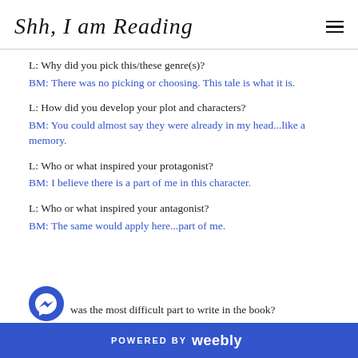Shh, I am Reading
L: Why did you pick this/these genre(s)?
BM: There was no picking or choosing. This tale is what it is.
L: How did you develop your plot and characters?
BM: You could almost say they were already in my head...like a memory.
L: Who or what inspired your protagonist?
BM: I believe there is a part of me in this character.
L: Who or what inspired your antagonist?
BM: The same would apply here...part of me.
was the most difficult part to write in the book?
POWERED BY weebly